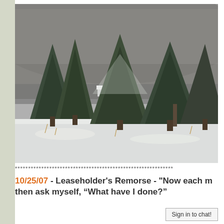[Figure (photo): Winter landscape photo showing snow-covered evergreen trees in the foreground with a white house partially visible behind them, and a wooded hillside in the background under an overcast grey sky.]
************************************************************
10/25/07 - Leaseholder's Remorse - "Now each m then ask myself, “What have I done?”
Sign in to chat!